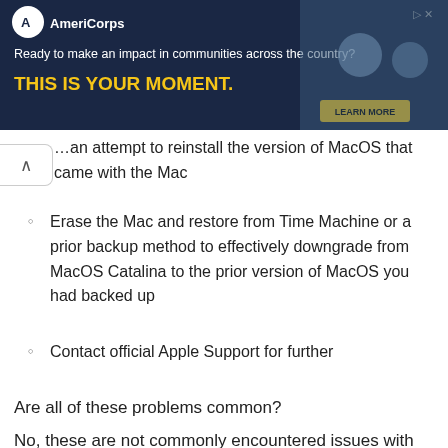[Figure (other): AmeriCorps advertisement banner with dark navy background. Logo with white circle, text 'AmeriCorps', tagline 'Ready to make an impact in communities across the country?', headline 'THIS IS YOUR MOMENT.' in yellow, a 'LEARN MORE' button, and a photo of people in background. Close/expand icons top right.]
… an attempt to reinstall the version of MacOS that came with the Mac
Erase the Mac and restore from Time Machine or a prior backup method to effectively downgrade from MacOS Catalina to the prior version of MacOS you had backed up
Contact official Apple Support for further assistance – Apple support techs and engineers may be able to resolve a problem for you that unaffiliated third party fan sites like this are not able to address
Are all of these problems common?
No, these are not commonly encountered issues with MacOS Catalina…